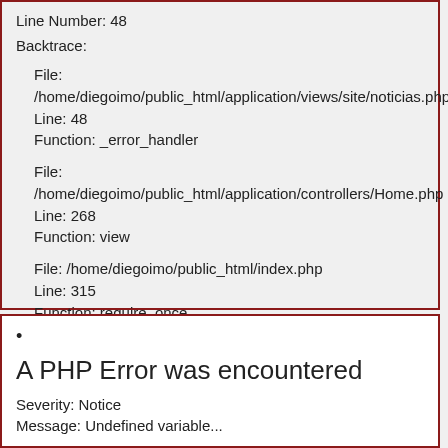Line Number: 48
Backtrace:
File: /home/diegoimo/public_html/application/views/site/noticias.php
Line: 48
Function: _error_handler
File: /home/diegoimo/public_html/application/controllers/Home.php
Line: 268
Function: view
File: /home/diegoimo/public_html/index.php
Line: 315
Function: require_once
> 2
•
A PHP Error was encountered
Severity: Notice
Message: Undefined variable...